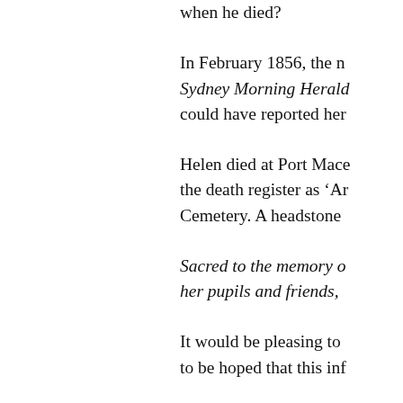when he died?
In February 1856, the n Sydney Morning Herald could have reported her
Helen died at Port Mace the death register as ‘Ar Cemetery. A headstone
Sacred to the memory o her pupils and friends,
It would be pleasing to to be hoped that this inf